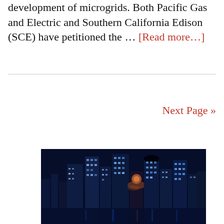development of microgrids. Both Pacific Gas and Electric and Southern California Edison (SCE) have petitioned the … [Read more…]
Next Page »
[Figure (photo): Night cityscape showing illuminated skyscrapers with blue and purple lighting against a dark sky]